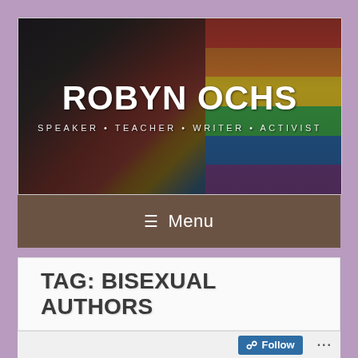[Figure (screenshot): Website header banner for Robyn Ochs with a pride parade background image showing people carrying large rainbow flags. White bold text reads 'ROBYN OCHS' with subtitle 'SPEAKER · TEACHER · WRITER · ACTIVIST']
≡  Menu
TAG: BISEXUAL AUTHORS
Follow ...